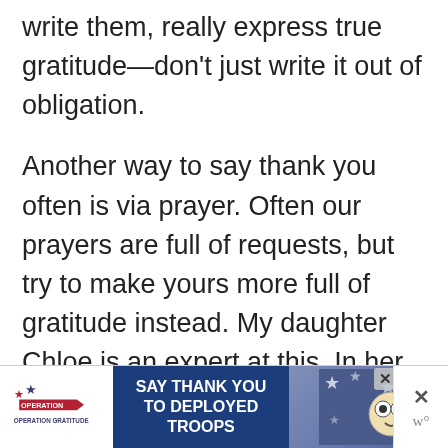write them, really express true gratitude—don't just write it out of obligation.
Another way to say thank you often is via prayer. Often our prayers are full of requests, but try to make yours more full of gratitude instead. My daughter Chloe is an expert at this. In her prayers she thanks God for the carpet, her
[Figure (infographic): Advertisement banner: Operation Gratitude logo on left, blue section reading 'SAY THANK YOU TO DEPLOYED TROOPS', cartoon image on right, close buttons on far right]